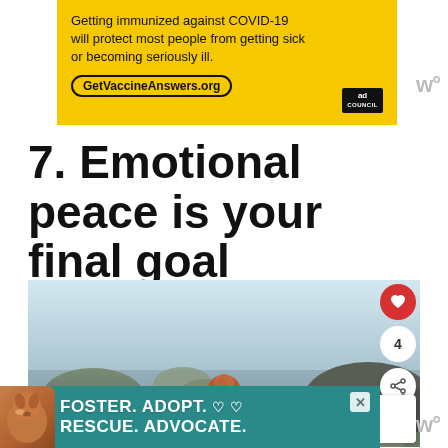[Figure (infographic): Yellow advertisement banner: 'Getting immunized against COVID-19 will protect most people from getting sick or becoming seriously ill. GetVaccineAnswers.org' with Ad Council logo]
7. Emotional peace is your final goal
[Figure (photo): Woman with red hair in a bun seen from behind, looking out at a rocky coastal seascape with misty sky]
[Figure (infographic): Bottom advertisement: dog photo with text 'FOSTER. ADOPT. RESCUE. ADVOCATE.' on teal background]